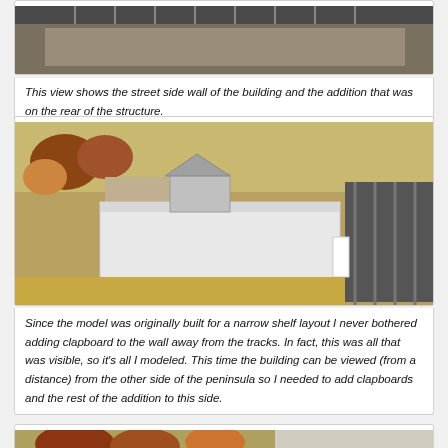[Figure (photo): Top photo showing model railroad building street side wall with tracks visible at top]
This view shows the street side wall of the building and the addition that was on the rear of the structure.
[Figure (photo): Model building shell placed on model railroad layout showing plain white foam core walls without clapboard siding, with tracks and autumn scenery in background]
Since the model was originally built for a narrow shelf layout I never bothered adding clapboard to the wall away from the tracks. In fact, this was all that was visible, so it's all I modeled. This time the building can be viewed (from a distance) from the other side of the peninsula so I needed to add clapboards and the rest of the addition to this side.
[Figure (photo): Partial view of model railroad layout showing autumn trees and building]